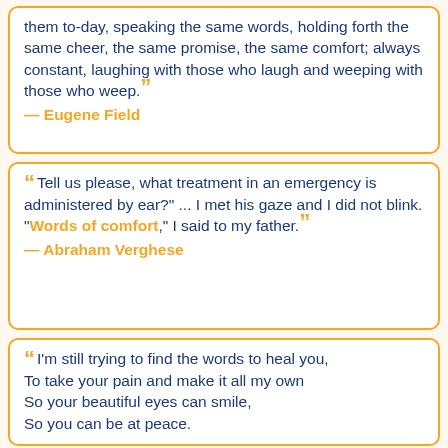them to-day, speaking the same words, holding forth the same cheer, the same promise, the same comfort; always constant, laughing with those who laugh and weeping with those who weep. ”
— Eugene Field
“ Tell us please, what treatment in an emergency is administered by ear?" ... I met his gaze and I did not blink. "Words of comfort," I said to my father. ”
— Abraham Verghese
“ I'm still trying to find the words to heal you, To take your pain and make it all my own So your beautiful eyes can smile, So you can be at peace.